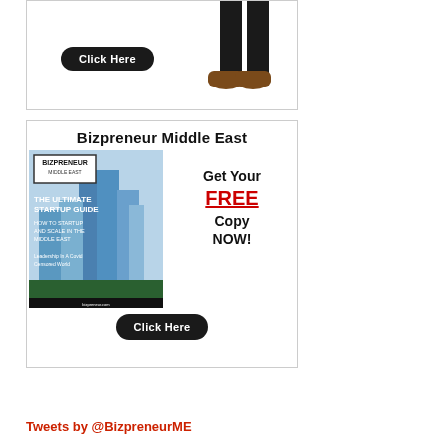[Figure (illustration): Advertisement banner showing a 'Click Here' button and a person's legs/shoes on the right side]
[Figure (illustration): Bizpreneur Middle East advertisement showing a magazine cover with tall buildings, titled 'THE ULTIMATE STARTUP GUIDE - HOW TO STARTUP AND SCALE IN THE MIDDLE EAST', with text 'Get Your FREE Copy NOW!' and a 'Click Here' button]
Tweets by @BizpreneurME